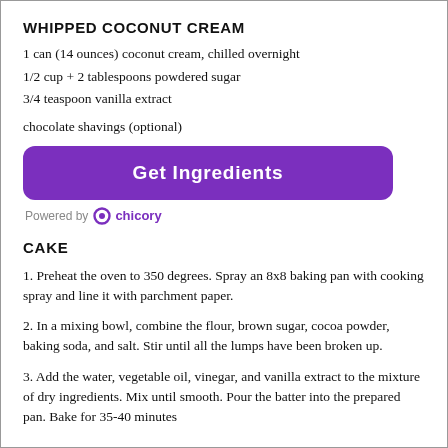WHIPPED COCONUT CREAM
1 can (14 ounces) coconut cream, chilled overnight
1/2 cup + 2 tablespoons powdered sugar
3/4 teaspoon vanilla extract
chocolate shavings (optional)
[Figure (other): Purple 'Get Ingredients' button with rounded corners]
Powered by chicory
CAKE
1. Preheat the oven to 350 degrees. Spray an 8x8 baking pan with cooking spray and line it with parchment paper.
2. In a mixing bowl, combine the flour, brown sugar, cocoa powder, baking soda, and salt. Stir until all the lumps have been broken up.
3. Add the water, vegetable oil, vinegar, and vanilla extract to the mixture of dry ingredients. Mix until smooth. Pour the batter into the prepared pan. Bake for 35-40 minutes...